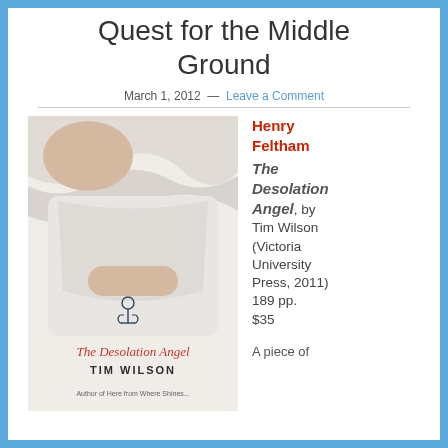Quest for the Middle Ground
March 1, 2012 — Leave a Comment
[Figure (photo): Book cover of 'The Desolation Angel' by Tim Wilson showing a person in white clothes lying on white bedding with an anchor tattoo on their arm]
Henry Feltham The Desolation Angel, by Tim Wilson (Victoria University Press, 2011) 189 pp. $35
A piece of